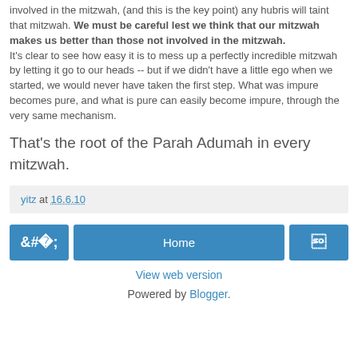involved in the mitzwah, (and this is the key point) any hubris will taint that mitzwah. We must be careful lest we think that our mitzwah makes us better than those not involved in the mitzwah. It's clear to see how easy it is to mess up a perfectly incredible mitzwah by letting it go to our heads -- but if we didn't have a little ego when we started, we would never have taken the first step. What was impure becomes pure, and what is pure can easily become impure, through the very same mechanism.
That's the root of the Parah Adumah in every mitzwah.
yitz at 16.6.10
Home
View web version
Powered by Blogger.